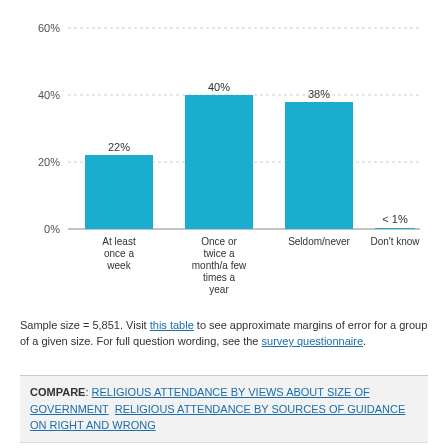[Figure (bar-chart): Religious attendance]
Sample size = 5,851. Visit this table to see approximate margins of error for a group of a given size. For full question wording, see the survey questionnaire.
COMPARE: RELIGIOUS ATTENDANCE BY VIEWS ABOUT SIZE OF GOVERNMENT  RELIGIOUS ATTENDANCE BY SOURCES OF GUIDANCE ON RIGHT AND WRONG